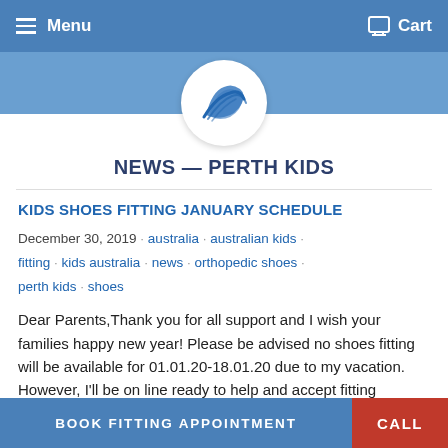Menu   Cart
[Figure (logo): Blue circular logo with stylized wave/shoe design in white on blue background]
NEWS — PERTH KIDS
KIDS SHOES FITTING JANUARY SCHEDULE
December 30, 2019 · australia · australian kids · fitting · kids australia · news · orthopedic shoes · perth kids · shoes
Dear Parents,Thank you for all support and I wish your families happy new year! Please be advised no shoes fitting will be available for 01.01.20-18.01.20 due to my vacation. However, I'll be on line ready to help and accept fitting bookings for the next year. Kind regards AlexBabу.
BOOK FITTING APPOINTMENT   CALL